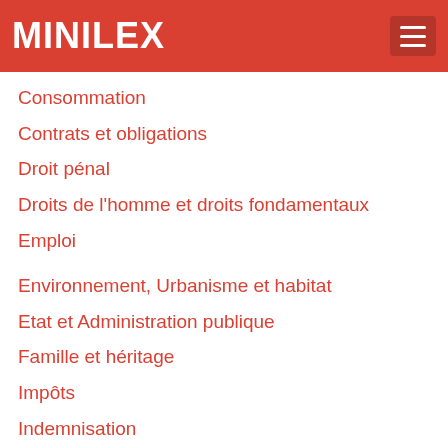MINILEX
Consommation
Contrats et obligations
Droit pénal
Droits de l'homme et droits fondamentaux
Emploi
Environnement, Urbanisme et habitat
Etat et Administration publique
Famille et héritage
Impôts
Indemnisation
Informatique et Internet
Insolvabilité
Justice
Les personnes
Logement et propriété